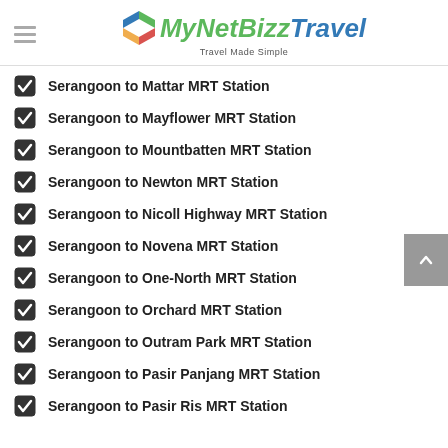MyNetBizz Travel — Travel Made Simple
Serangoon to Mattar MRT Station
Serangoon to Mayflower MRT Station
Serangoon to Mountbatten MRT Station
Serangoon to Newton MRT Station
Serangoon to Nicoll Highway MRT Station
Serangoon to Novena MRT Station
Serangoon to One-North MRT Station
Serangoon to Orchard MRT Station
Serangoon to Outram Park MRT Station
Serangoon to Pasir Panjang MRT Station
Serangoon to Pasir Ris MRT Station